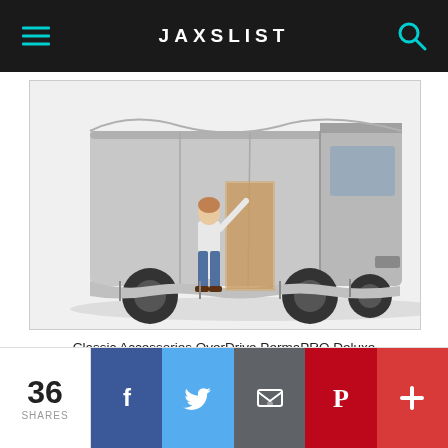JAXSLIST
[Figure (photo): An RV/motorhome covered with a grey Classic Accessories OverDrive PermaPRO Deluxe Extra Tall Class cover, with a woman standing at the door.]
Classic Accessories OverDrive PermaPRO Deluxe Extra Tall Class
[Figure (other): Buy from Amazon.com button with Amazon logo and orange arrow badge]
36 SHARES